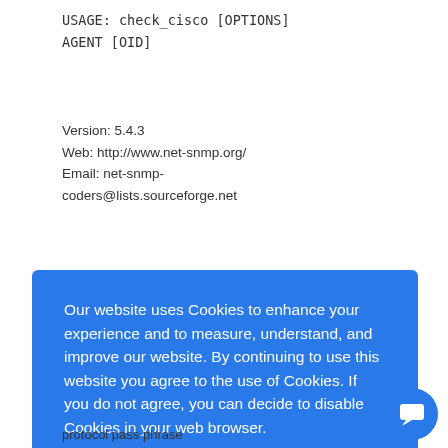USAGE: check_cisco [OPTIONS] AGENT [OID]
Version: 5.4.3
Web: http://www.net-snmp.org/
Email: net-snmp-coders@lists.sourceforge.net
Our website uses Cookies to enhance your experience and to measure, understand, and improve our website. By continuing to use this website you agree to the use of Cookies. If you do not agree, you can decide to disable Cookies in your web browser.
Learn More About Cookies
Got it!
protocol pass phrase